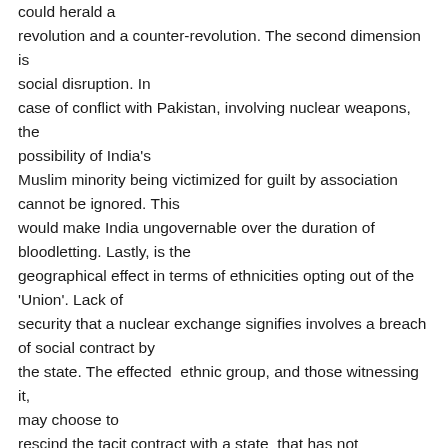could herald a revolution and a counter-revolution. The second dimension is social disruption. In case of conflict with Pakistan, involving nuclear weapons, the possibility of India's Muslim minority being victimized for guilt by association cannot be ignored. This would make India ungovernable over the duration of bloodletting. Lastly, is the geographical effect in terms of ethnicities opting out of the 'Union'. Lack of security that a nuclear exchange signifies involves a breach of social contract by the state. The effected  ethnic group, and those witnessing it, may choose to rescind the tacit contract with a state  that has not provisioned security as stipulated. For instance, in case of a nuclear exchange even at the lowest level with China in the east, the ethnic groups there may want out of an India-China contest that risks their homelands. While  this pessimistic